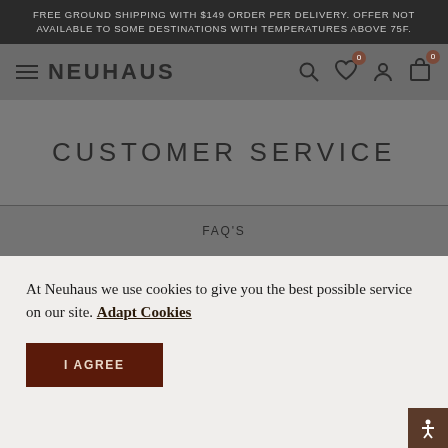FREE GROUND SHIPPING WITH $149 ORDER PER DELIVERY. OFFER NOT AVAILABLE TO SOME DESTINATIONS WITH TEMPERATURES ABOVE 75F.
[Figure (screenshot): Neuhaus brand navigation bar with hamburger menu, brand logo, search icon, wishlist icon with 0 badge, account icon, and cart icon with 0 badge]
CUSTOMER SERVICE
FAQ'S
At Neuhaus we use cookies to give you the best possible service on our site. Adapt Cookies
I AGREE